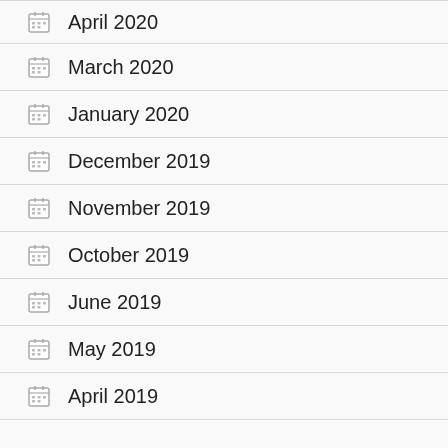April 2020
March 2020
January 2020
December 2019
November 2019
October 2019
June 2019
May 2019
April 2019